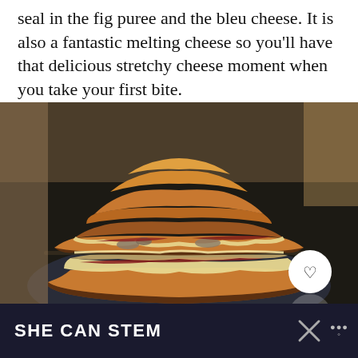seal in the fig puree and the bleu cheese. It is also a fantastic melting cheese so you'll have that delicious stretchy cheese moment when you take your first bite.
[Figure (photo): A grilled cheese sandwich cut in half and stacked, showing melted cheese, bacon, mushrooms, and other fillings oozing out, served on a dark plate. Two circular icon buttons (heart/favorite and search/zoom) are overlaid in the bottom right corner.]
SHE CAN STEM